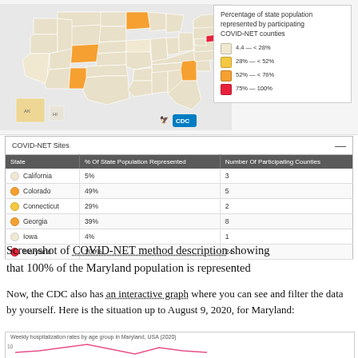[Figure (map): US map showing COVID-NET sites by state, with states shaded in different shades of orange/yellow indicating percentage of state population represented by participating COVID-NET counties. States visible include California, Colorado, Connecticut, Georgia, Iowa, Maryland, Minnesota, New Mexico, Oregon, and others.]
Percentage of state population represented by participating COVID-NET counties
4.4 — < 28%
28% — < 52%
52% — < 76%
75% — 100%
| State | % Of State Population Represented | Number Of Participating Counties |
| --- | --- | --- |
| California | 5% | 3 |
| Colorado | 49% | 5 |
| Connecticut | 29% | 2 |
| Georgia | 39% | 8 |
| Iowa | 4% | 1 |
| Maryland | 100% | 24 |
Screenshot of COVID-NET method description showing that 100% of the Maryland population is represented
Now, the CDC also has an interactive graph where you can see and filter the data by yourself. Here is the situation up to August 9, 2020, for Maryland:
[Figure (screenshot): Partial screenshot of a line chart titled 'Weekly hospitalization rates by age group in Maryland, USA (2020)' showing beginning of a pink/red line chart with y-axis label starting at 10.]